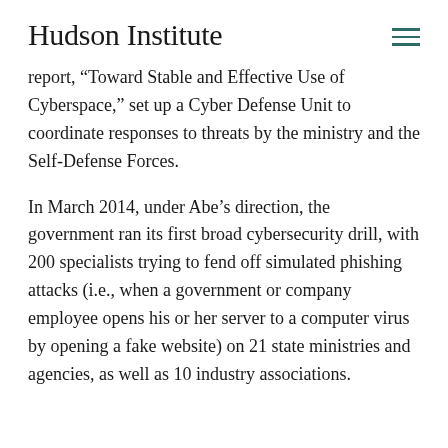Hudson Institute
report, “Toward Stable and Effective Use of Cyberspace,” set up a Cyber Defense Unit to coordinate responses to threats by the ministry and the Self-Defense Forces.
In March 2014, under Abe’s direction, the government ran its first broad cybersecurity drill, with 200 specialists trying to fend off simulated phishing attacks (i.e., when a government or company employee opens his or her server to a computer virus by opening a fake website) on 21 state ministries and agencies, as well as 10 industry associations.